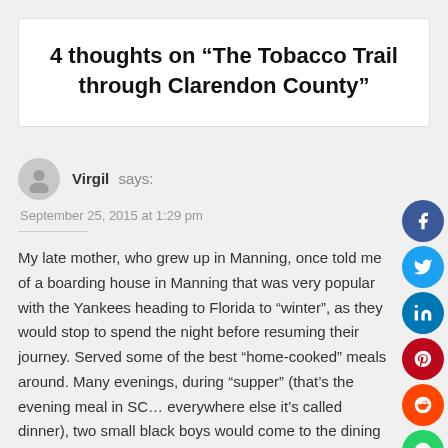4 thoughts on “The Tobacco Trail through Clarendon County”
Virgil says:
September 25, 2015 at 1:29 pm
My late mother, who grew up in Manning, once told me of a boarding house in Manning that was very popular with the Yankees heading to Florida to “winter”, as they would stop to spend the night before resuming their journey. Served some of the best “home-cooked” meals around. Many evenings, during “supper” (that’s the evening meal in SC… everywhere else it’s called dinner), two small black boys would come to the dining room windows, which were open (no air conditioning back then) and SING… Mama